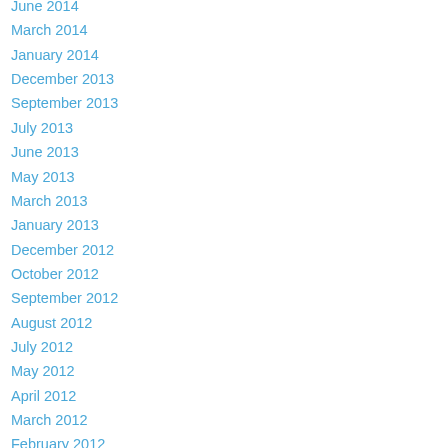June 2014
March 2014
January 2014
December 2013
September 2013
July 2013
June 2013
May 2013
March 2013
January 2013
December 2012
October 2012
September 2012
August 2012
July 2012
May 2012
April 2012
March 2012
February 2012
January 2012